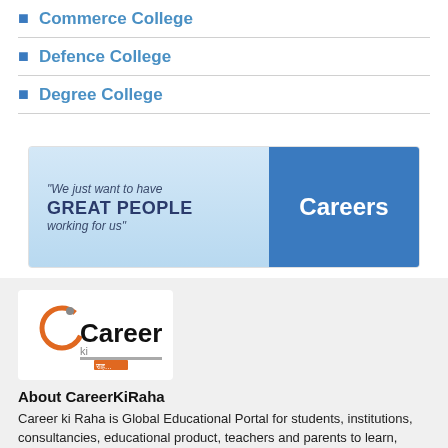Commerce College
Defence College
Degree College
[Figure (illustration): Careers banner with text 'We just want to have GREAT PEOPLE working for us' on a blue gradient background, and a blue box on the right with white text 'Careers' and hands holding a sign.]
[Figure (logo): CareerKiRaha logo with stylized orange and grey C, black bold text 'Career' with an orange and grey 'ki' and 'राह...' text below.]
About CareerKiRaha
Career ki Raha is Global Educational Portal for students, institutions, consultancies, educational product, teachers and parents to learn, discuss, share knowledge and get motivated. Our portal gives Educational information like Institutes, School, College, University...